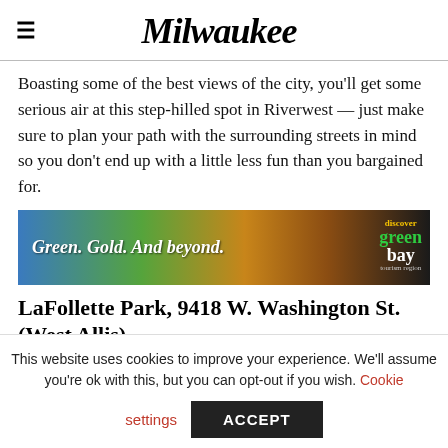Milwaukee
Boasting some of the best views of the city, you'll get some serious air at this step-hilled spot in Riverwest — just make sure to plan your path with the surrounding streets in mind so you don't end up with a little less fun than you bargained for.
[Figure (infographic): Advertisement banner: Green. Gold. And beyond. Discover Green Bay]
LaFollette Park, 9418 W. Washington St. (West Allis)
If LaFollette Park was a ski resort, it'd just be one giant
This website uses cookies to improve your experience. We'll assume you're ok with this, but you can opt-out if you wish. Cookie settings ACCEPT